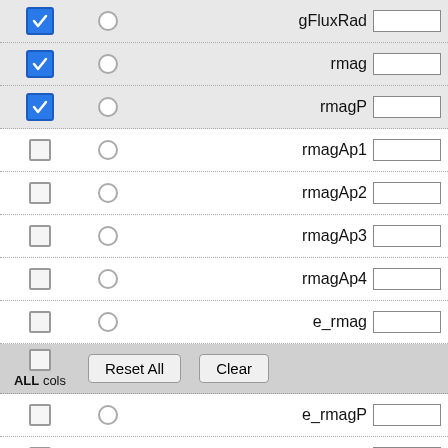[Figure (screenshot): A UI widget showing a scrollable list of database column selectors. Each row has a checkbox (blue checked or empty), a radio button, a right-aligned field name, and a text input box. Rows shown: gFluxRad (checked), rmag (checked), rmagP (checked), rmagAp1, rmagAp2, rmagAp3, rmagAp4, e_rmag, then a footer row with ALL cols checkbox and Reset All / Clear buttons, then e_rmagP and e_rmagAp1.]